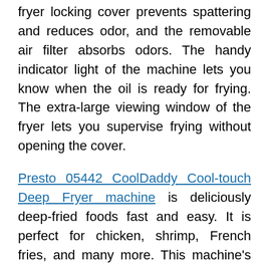fryer locking cover prevents spattering and reduces odor, and the removable air filter absorbs odors. The handy indicator light of the machine lets you know when the oil is ready for frying. The extra-large viewing window of the fryer lets you supervise frying without opening the cover.
Presto 05442 CoolDaddy Cool-touch Deep Fryer machine is deliciously deep-fried foods fast and easy. It is perfect for chicken, shrimp, French fries, and many more. This machine's exterior handle lowers food into the oil with the cover closed to prevent spattering. The removable pot of the fryer with nonstick cooking surface assures quick and easy cleanups. It has the big 6-serving capacity in a